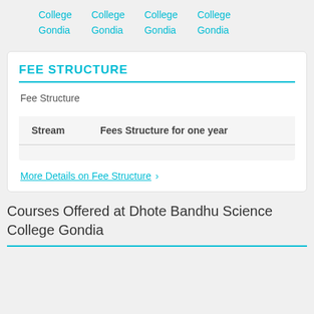College Gondia  College Gondia  College Gondia  College Gondia
FEE STRUCTURE
Fee Structure
| Stream | Fees Structure for one year |
| --- | --- |
More Details on Fee Structure >
Courses Offered at Dhote Bandhu Science College Gondia